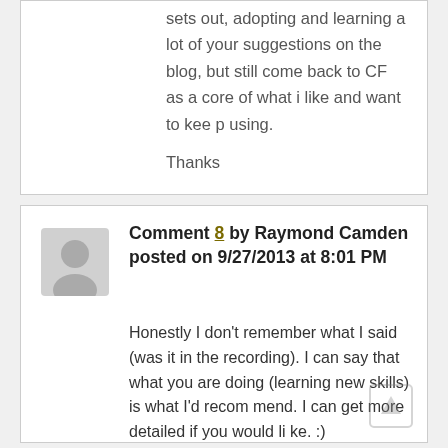sets out, adopting and learning a lot of your suggestions on the blog, but still come back to CF as a core of what i like and want to keep using.
Thanks
Comment 8 by Raymond Camden posted on 9/27/2013 at 8:01 PM
Honestly I don't remember what I said (was it in the recording). I can say that what you are doing (learning new skills) is what I'd recommend. I can get more detailed if you would like. :)